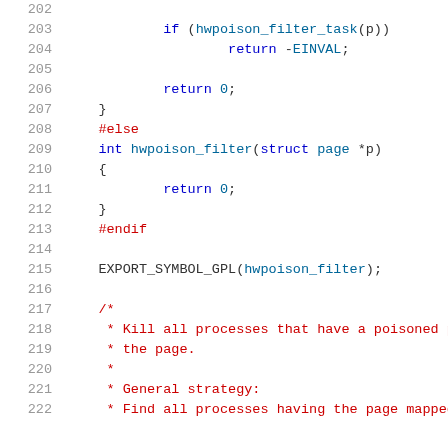[Figure (screenshot): Source code listing in C, lines 202-222, showing hwpoison_filter function implementation with preprocessor directives and comments. Syntax highlighted with line numbers.]